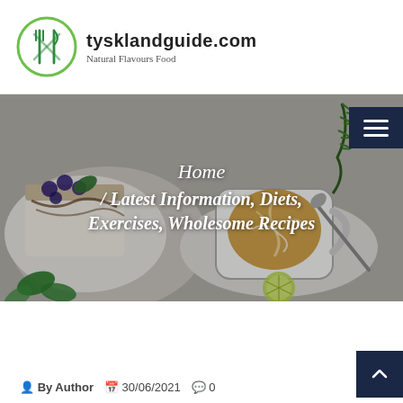[Figure (logo): tysklandguide.com logo: green oval with crossed fork and knife inside, site name and tagline 'Natural Flavours Food']
[Figure (photo): Hero banner photograph showing a latte art coffee cup on a saucer, a blueberry dessert on a plate, green herbs and lime slices on a light grey surface]
Home
/ Latest Information, Diets, Exercises, Wholesome Recipes
By Author   30/06/2021   0